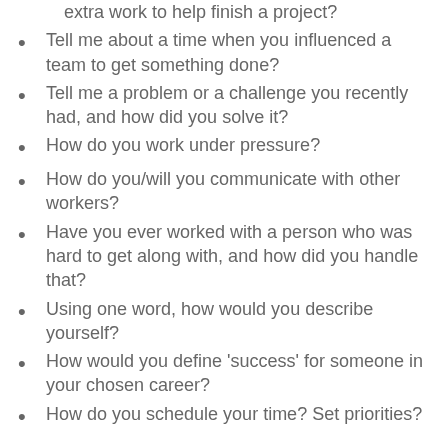extra work to help finish a project?
Tell me about a time when you influenced a team to get something done?
Tell me a problem or a challenge you recently had, and how did you solve it?
How do you work under pressure?
How do you/will you communicate with other workers?
Have you ever worked with a person who was hard to get along with, and how did you handle that?
Using one word, how would you describe yourself?
How would you define 'success' for someone in your chosen career?
How do you schedule your time? Set priorities?